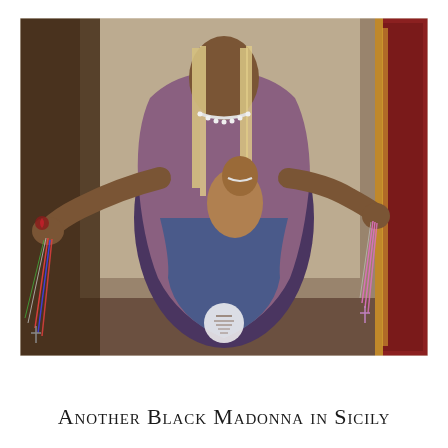[Figure (photo): A religious statue of the Black Madonna holding the Christ child, with rosaries and other devotional items draped over the outstretched arms. The statue is painted in earthy tones with blue and pink robes. A red decorative frame is visible on the right side. The Madonna has long blonde hair. Multiple colorful rosary beads hang from both outstretched hands.]
Another Black Madonna in Sicily